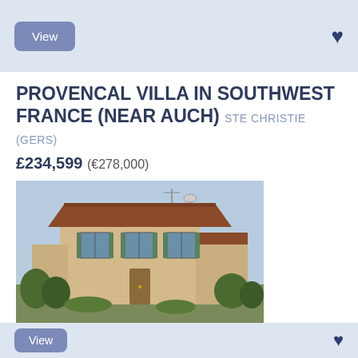View
PROVENCAL VILLA IN SOUTHWEST FRANCE (NEAR AUCH) STE CHRISTIE (GERS)
£234,599 (€278,000)
[Figure (photo): Exterior photo of a Provencal villa with cream-coloured walls, terracotta roof tiles, green shutters, set against a clear sky with landscaped grounds in front.]
4 bedrooms and 2 bathrooms.
Provencal Villa with character, residential property for sale direct from owner with splendid 180° sunny southern view of Gers countryside and...
Ref: 156919
View